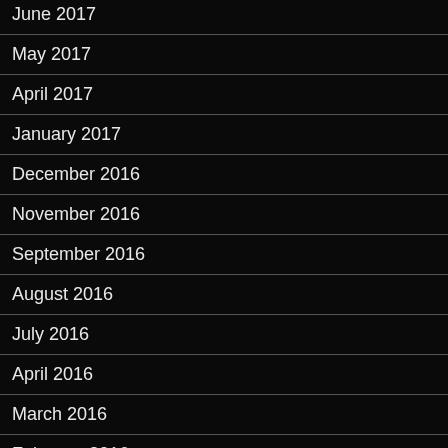June 2017
May 2017
April 2017
January 2017
December 2016
November 2016
September 2016
August 2016
July 2016
April 2016
March 2016
February 2016
January 2016